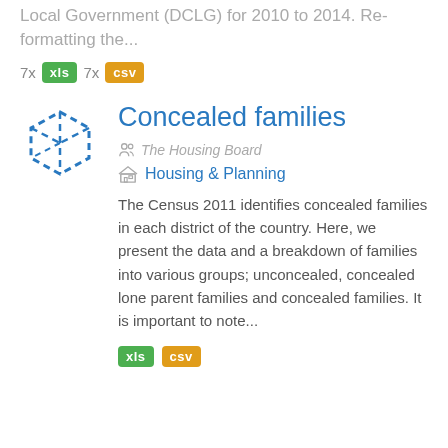Local Government (DCLG) for 2010 to 2014. Re-formatting the...
7x xls  7x csv
Concealed families
The Housing Board
Housing & Planning
The Census 2011 identifies concealed families in each district of the country. Here, we present the data and a breakdown of families into various groups; unconcealed, concealed lone parent families and concealed families. It is important to note...
xls  csv